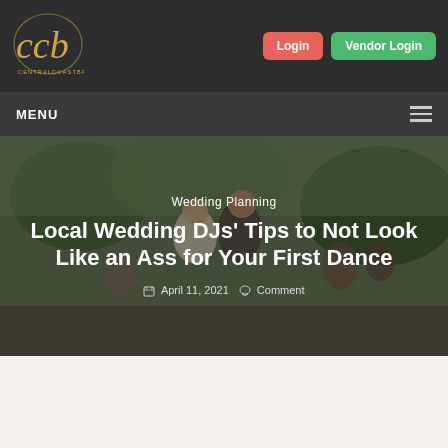[Figure (logo): CCB centralcoastbride.com logo — cursive gold letters on dark background]
Login
Vendor Login
MENU
[Figure (photo): Wedding couple dancing at outdoor reception, guests watching in background]
Wedding Planning
Local Wedding DJs' Tips to Not Look Like an Ass for Your First Dance
April 11, 2021   Comment
[Figure (photo): Partial photo of wedding scene visible at bottom of page]